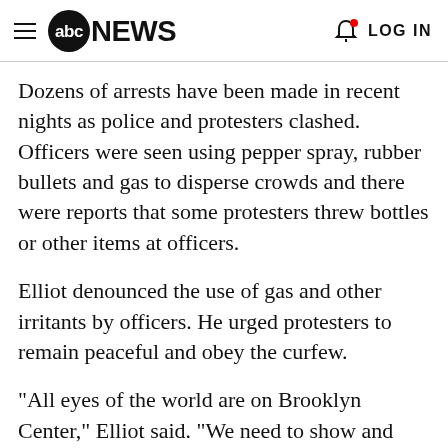abc NEWS  LOG IN
Dozens of arrests have been made in recent nights as police and protesters clashed. Officers were seen using pepper spray, rubber bullets and gas to disperse crowds and there were reports that some protesters threw bottles or other items at officers.
Elliot denounced the use of gas and other irritants by officers. He urged protesters to remain peaceful and obey the curfew.
"All eyes of the world are on Brooklyn Center," Elliot said. "We need to show and must show the very best of our community. Mr. Wright's family deserves that."